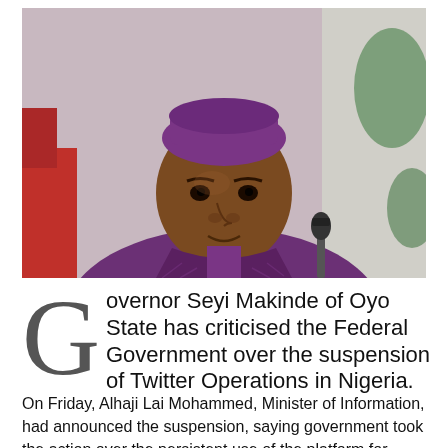[Figure (photo): Governor Seyi Makinde of Oyo State, wearing a purple agbada and purple cap, seated at a table with a microphone in front of him, looking directly at the camera.]
Governor Seyi Makinde of Oyo State has criticised the Federal Government over the suspension of Twitter Operations in Nigeria.
On Friday, Alhaji Lai Mohammed, Minister of Information, had announced the suspension, saying government took the action over the persistent use of the platform for activities